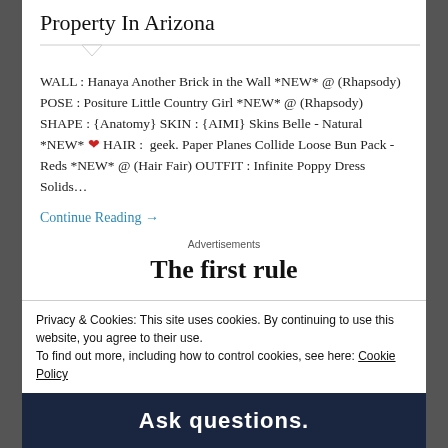Property In Arizona
WALL : Hanaya Another Brick in the Wall *NEW* @ (Rhapsody) POSE : Positure Little Country Girl *NEW* @ (Rhapsody) SHAPE : {Anatomy} SKIN : {AIMI} Skins Belle - Natural *NEW* ❤ HAIR :  geek. Paper Planes Collide Loose Bun Pack - Reds *NEW* @ (Hair Fair) OUTFIT : Infinite Poppy Dress Solids…
Continue Reading →
Advertisements
The first rule
Privacy & Cookies: This site uses cookies. By continuing to use this website, you agree to their use.
To find out more, including how to control cookies, see here: Cookie Policy
Close and accept
Ask questions.